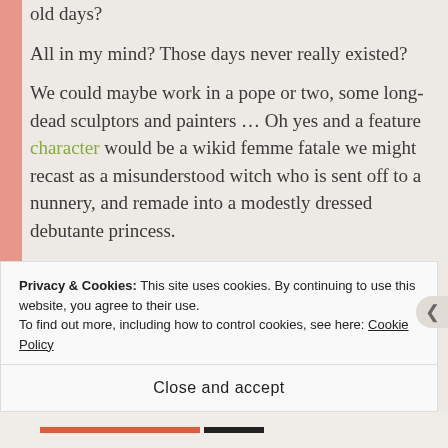old days? All in my mind? Those days never really existed? We could maybe work in a pope or two, some long-dead sculptors and painters … Oh yes and a feature character would be a wikid femme fatale we might recast as a misunderstood witch who is sent off to a nunnery, and remade into a modestly dressed debutante princess.
Hmmm.   Too much.   You think?
Privacy & Cookies: This site uses cookies. By continuing to use this website, you agree to their use. To find out more, including how to control cookies, see here: Cookie Policy
Close and accept